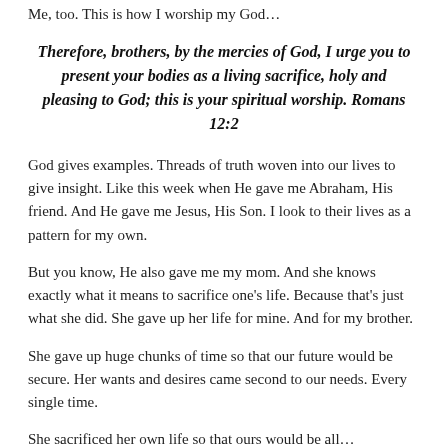Me, too. This is how I worship my God…
Therefore, brothers, by the mercies of God, I urge you to present your bodies as a living sacrifice, holy and pleasing to God; this is your spiritual worship. Romans 12:2
God gives examples. Threads of truth woven into our lives to give insight. Like this week when He gave me Abraham, His friend. And He gave me Jesus, His Son. I look to their lives as a pattern for my own.
But you know, He also gave me my mom. And she knows exactly what it means to sacrifice one's life. Because that's just what she did. She gave up her life for mine. And for my brother.
She gave up huge chunks of time so that our future would be secure. Her wants and desires came second to our needs. Every single time.
She sacrificed her own life so that ours would be all…